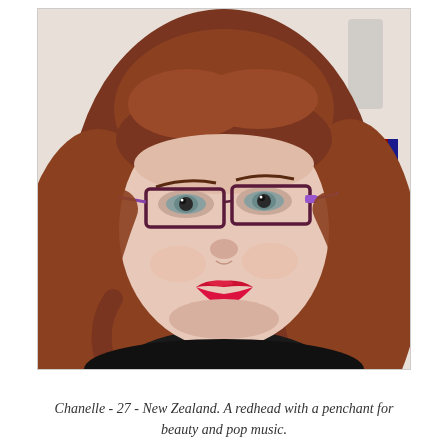[Figure (photo): Portrait photo of a young woman with long auburn/red hair, wearing rectangular glasses with purple frames, bright red lipstick, and a black top. She is taking a selfie. In the background there is a white wall and some colorful items.]
Chanelle - 27 - New Zealand. A redhead with a penchant for beauty and pop music.